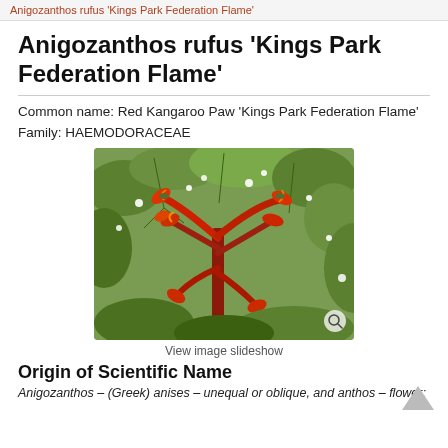Anigozanthos rufus 'Kings Park Federation Flame'
Anigozanthos rufus 'Kings Park Federation Flame'
Common name: Red Kangaroo Paw 'Kings Park Federation Flame'
Family: HAEMODORACEAE
[Figure (photo): Photograph of Anigozanthos rufus 'Kings Park Federation Flame' showing red kangaroo paw flowers against a background of green foliage and small white flowers.]
View image slideshow
Origin of Scientific Name
Anigozanthos – (Greek) anises – unequal or oblique, and anthos – flower;